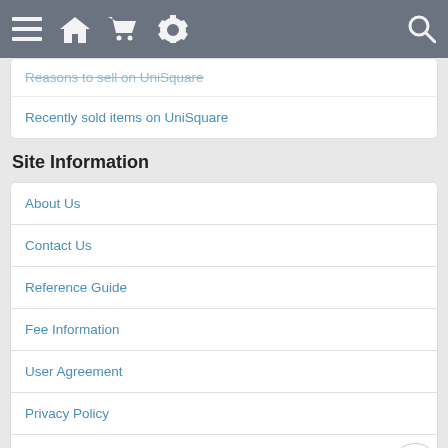Navigation bar with menu, home, cart, settings, and search icons
Reasons to sell on UniSquare
Recently sold items on UniSquare
Site Information
About Us
Contact Us
Reference Guide
Fee Information
User Agreement
Privacy Policy
Updates and Upgrades (6/7/2016)